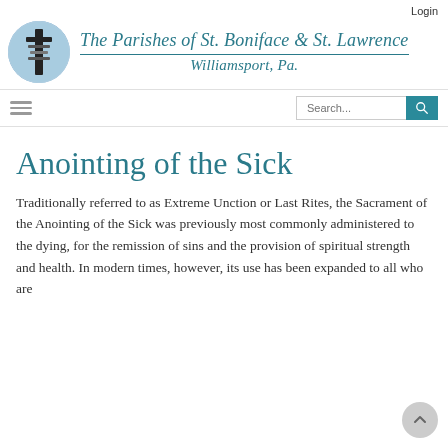Login
[Figure (logo): Circular logo with church/cross graphic and blue sky background]
The Parishes of St. Boniface & St. Lawrence Williamsport, Pa.
Search...
Anointing of the Sick
Traditionally referred to as Extreme Unction or Last Rites, the Sacrament of the Anointing of the Sick was previously most commonly administered to the dying, for the remission of sins and the provision of spiritual strength and health. In modern times, however, its use has been expanded to all who are